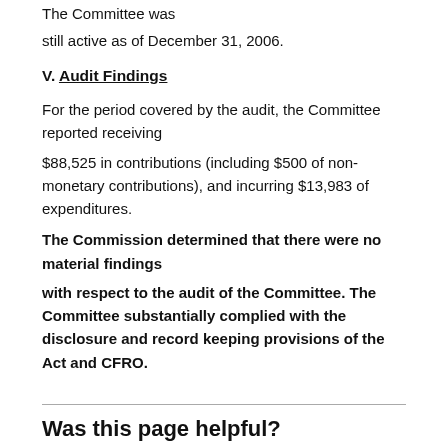The Committee was still active as of December 31, 2006.
V. Audit Findings
For the period covered by the audit, the Committee reported receiving $88,525 in contributions (including $500 of non-monetary contributions), and incurring $13,983 of expenditures.
The Commission determined that there were no material findings with respect to the audit of the Committee.  The Committee substantially complied with the disclosure and record keeping provisions of the Act and CFRO.
Was this page helpful?